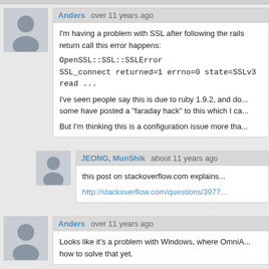Anders  over 11 years ago
I'm having a problem with SSL after following the rails... return call this error happens:
OpenSSL::SSL::SSLError
SSL_connect returned=1 errno=0 state=SSLv3 read...
I've seen people say this is due to ruby 1.9.2, and do... some have posted a "faraday hack" to this which I ca...
But I'm thinking this is a configuration issue more tha...
JEONG, MunShik  about 11 years ago
this post on stackoverflow.com explains...
http://stackoverflow.com/questions/3977...
Anders  over 11 years ago
Looks like it's a problem with Windows, where OmniA... how to solve that yet.